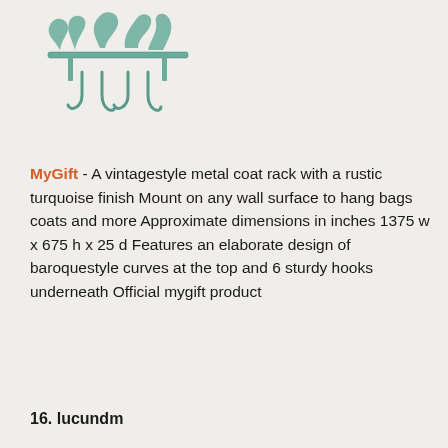[Figure (photo): A vintage-style metal coat rack with a rustic turquoise finish, showing baroque-style decorative curves at the top and hooks underneath.]
MyGift - A vintagestyle metal coat rack with a rustic turquoise finish Mount on any wall surface to hang bags coats and more Approximate dimensions in inches 1375 w x 675 h x 25 d Features an elaborate design of baroquestyle curves at the top and 6 sturdy hooks underneath Official mygift product
16. lucundm